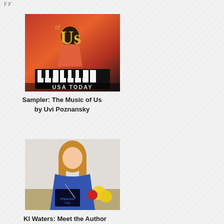[Figure (illustration): Book cover for 'The Music of Us' showing a young Black woman in a red dress playing piano, with orange/red painterly background. Text 'USA TODAY' at bottom. Gold text 'Us' prominent.]
Sampler: The Music of Us by Uvi Poznansky
[Figure (photo): Author photo of a woman with long blonde hair wearing a blue top, sitting at a table signing books. Yellow and red flowers visible in the foreground. Book with dark cover being signed.]
Kl Waters: Meet the Author